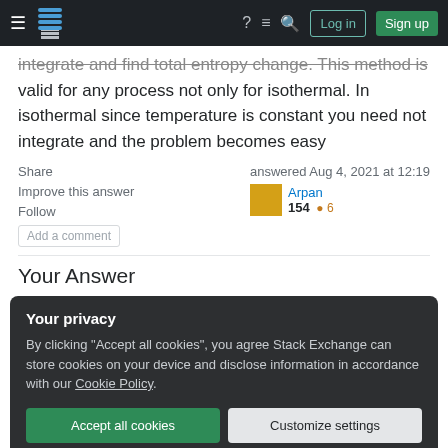Stack Exchange navigation bar with hamburger menu, logo, help, chat, search icons, Log in and Sign up buttons
integrate and find total entropy change. This method is valid for any process not only for isothermal. In isothermal since temperature is constant you need not integrate and the problem becomes easy
Share   Improve this answer   Follow   Add a comment   answered Aug 4, 2021 at 12:19   Arpan   154   6
Your Answer
Your privacy
By clicking "Accept all cookies", you agree Stack Exchange can store cookies on your device and disclose information in accordance with our Cookie Policy.
Accept all cookies   Customize settings